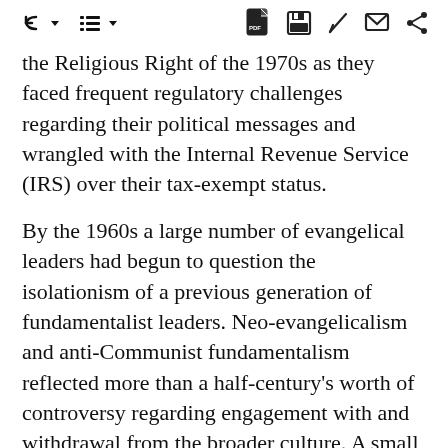[toolbar icons: back, list, PDF, save, edit, message, share]
the Religious Right of the 1970s as they faced frequent regulatory challenges regarding their political messages and wrangled with the Internal Revenue Service (IRS) over their tax-exempt status.
By the 1960s a large number of evangelical leaders had begun to question the isolationism of a previous generation of fundamentalist leaders. Neo-evangelicalism and anti-Communist fundamentalism reflected more than a half-century's worth of controversy regarding engagement with and withdrawal from the broader culture. A small number of younger evangelicals rejected the status quo conservatism of neo-evangelicalism and anti-Communist